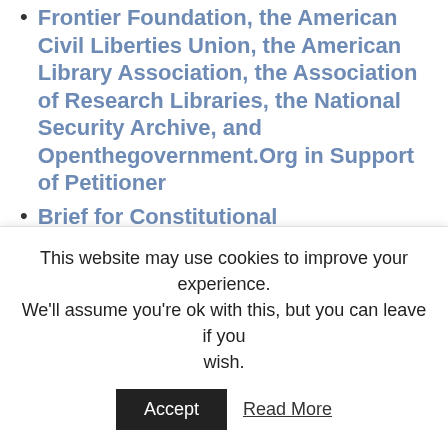Amicus in Washington, the Electronic Frontier Foundation, the American Civil Liberties Union, the American Library Association, the Association of Research Libraries, the National Security Archive, and Openthegovernment.Org in Support of Petitioner
Brief for Constitutional Accountability Center in Support of Petitioner
Certiorari-stage documents
Opinion below (3d Circuit)
Petition for certiorari (unavailable)
Brief in opposition for AT&T (unavailable)
This website may use cookies to improve your experience. We'll assume you're ok with this, but you can leave if you wish.
Accept  Read More